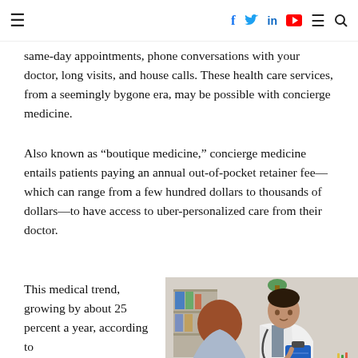≡  f  🐦  in  ▶  ≡  🔍
same-day appointments, phone conversations with your doctor, long visits, and house calls. These health care services, from a seemingly bygone era, may be possible with concierge medicine.
Also known as “boutique medicine,” concierge medicine entails patients paying an annual out-of-pocket retainer fee—which can range from a few hundred dollars to thousands of dollars—to have access to uber-personalized care from their doctor.
This medical trend, growing by about 25 percent a year, according to
[Figure (photo): A doctor in a white coat with a stethoscope holds a blue clipboard, seated across from a patient (seen from behind) in a medical office setting with shelving and binders in the background.]